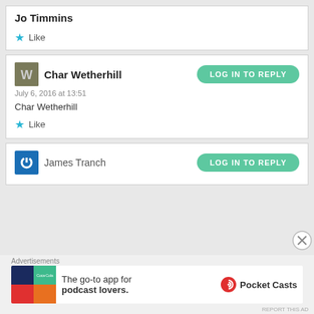Jo Timmins
★ Like
Char Wetherhill — LOG IN TO REPLY
July 6, 2016 at 13:51
Char Wetherhill
★ Like
James Tranch — LOG IN TO REPLY
Advertisements
The go-to app for podcast lovers. Pocket Casts
REPORT THIS AD